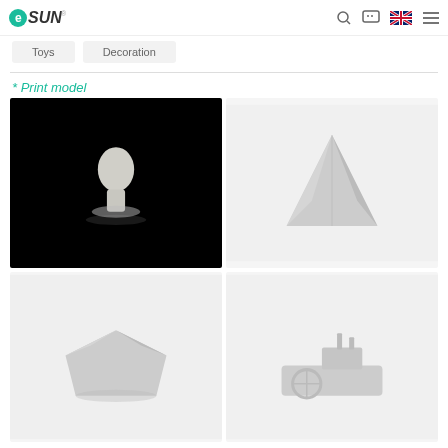eSUN navigation bar with logo, search, chat, language, and menu icons
Toys
Decoration
* Print model
[Figure (photo): 3D printed white classical bust sculpture on black background]
[Figure (photo): 3D printed white geometric pyramid shape on white background]
[Figure (photo): 3D printed white geometric faceted bowl/planter on white background]
[Figure (photo): 3D printed white steamboat/ship model on white background]